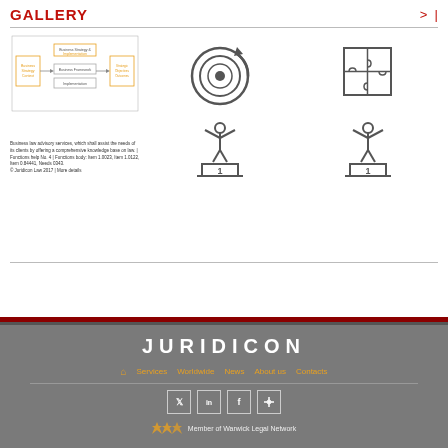GALLERY   > |
[Figure (schematic): Business process flow diagram thumbnail with orange and grey boxes showing business framework steps, with small caption text below]
[Figure (illustration): Target/goal icon - circular target with arrow and clockwise arrow]
[Figure (illustration): Puzzle pieces icon - four interlocking puzzle pieces in a square arrangement]
[Figure (illustration): Trophy/winner icon - stick figure person with arms raised standing on a number 1 podium]
[Figure (illustration): Trophy/winner icon - stick figure person with arms raised standing on a number 1 podium (duplicate)]
JURIDICON  Services  Worldwide  News  About us  Contacts  Member of Warwick Legal Network